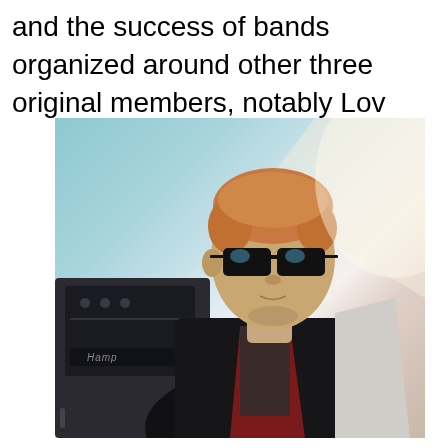and the success of bands organized around other three original members, notably Lov
[Figure (photo): A man with short blonde/reddish hair wearing dark sunglasses and a black jacket with a dark red scarf, standing near a dark amplifier with a light background behind him.]